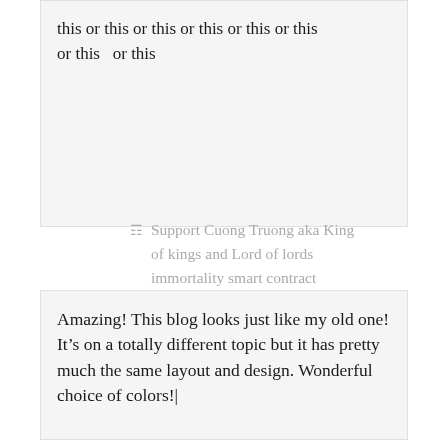this or this or this or this or this or this or this or this
Support Cuong Truong aka King of kings and Lord of lords immortality smart contract
June 13, 2020 at 10:59 pm
Permalink
Amazing! This blog looks just like my old one! It’s on a totally different topic but it has pretty much the same layout and design. Wonderful choice of colors!